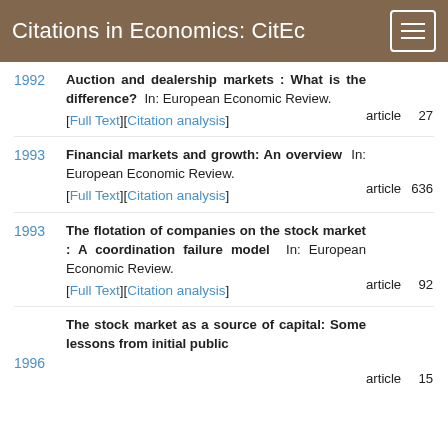Citations in Economics: CitEc
1992 | Auction and dealership markets : What is the difference? In: European Economic Review. [Full Text][Citation analysis] | article | 27
1993 | Financial markets and growth: An overview In: European Economic Review. [Full Text][Citation analysis] | article | 636
1993 | The flotation of companies on the stock market : A coordination failure model In: European Economic Review. [Full Text][Citation analysis] | article | 92
1996 | The stock market as a source of capital: Some lessons from initial public | article | 15